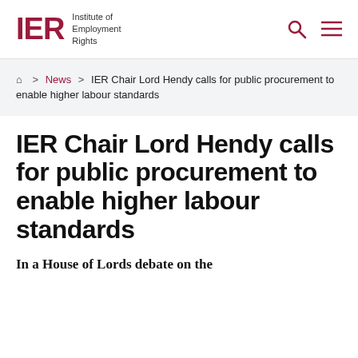IER Institute of Employment Rights
Home > News > IER Chair Lord Hendy calls for public procurement to enable higher labour standards
IER Chair Lord Hendy calls for public procurement to enable higher labour standards
In a House of Lords debate on the